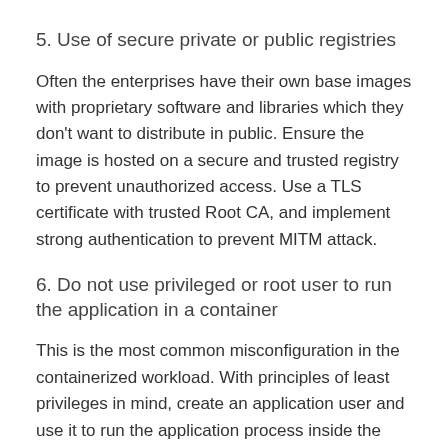5. Use of secure private or public registries
Often the enterprises have their own base images with proprietary software and libraries which they don't want to distribute in public. Ensure the image is hosted on a secure and trusted registry to prevent unauthorized access. Use a TLS certificate with trusted Root CA, and implement strong authentication to prevent MITM attack.
6. Do not use privileged or root user to run the application in a container
This is the most common misconfiguration in the containerized workload. With principles of least privileges in mind, create an application user and use it to run the application process inside the